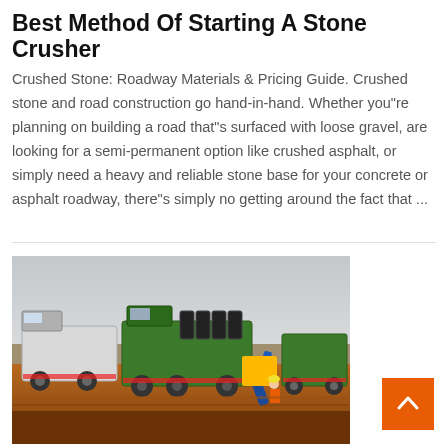Best Method Of Starting A Stone Crusher
Crushed Stone: Roadway Materials & Pricing Guide. Crushed stone and road construction go hand-in-hand. Whether you"re planning on building a road that"s surfaced with loose gravel, are looking for a semi-permanent option like crushed asphalt, or simply need a heavy and reliable stone base for your concrete or asphalt roadway, there"s simply no getting around the fact that ...
[Figure (photo): Photograph of heavy stone crusher machinery and construction vehicles on a red dirt construction site. Multiple large green and white trucks/equipment visible, with a blue excavator arm and a worker in an orange vest. Overcast sky in background.]